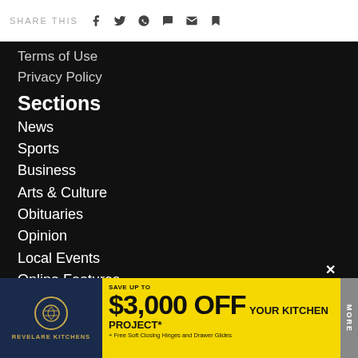SHARE THIS
Terms of Use
Privacy Policy
Sections
News
Sports
Business
Arts & Culture
Obituaries
Opinion
Local Events
Online Features
Services
About Us
Advert
Contac
[Figure (infographic): Advertisement for Revelare Kitchens: Save up to $3,000 OFF your kitchen project* + Free Soft Closing Hinges and Drawer Glides]